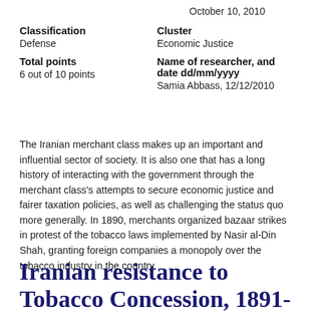October 10, 2010
Classification
Defense
Cluster
Economic Justice
Total points
6 out of 10 points
Name of researcher, and date dd/mm/yyyy
Samia Abbass, 12/12/2010
The Iranian merchant class makes up an important and influential sector of society. It is also one that has a long history of interacting with the government through the merchant class's attempts to secure economic justice and fairer taxation policies, as well as challenging the status quo more generally. In 1890, merchants organized bazaar strikes in protest of the tobacco laws implemented by Nasir al-Din Shah, granting foreign companies a monopoly over the tobacco industry in the country.
Iranian resistance to Tobacco Concession, 1891-1892